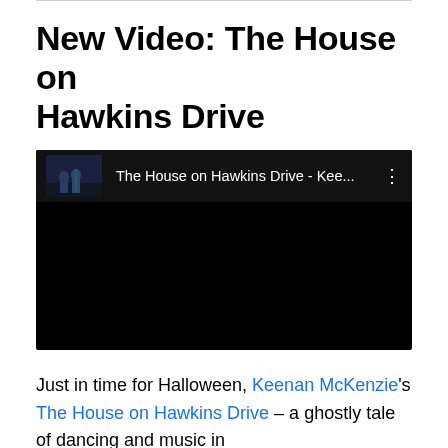New Video: The House on Hawkins Drive
[Figure (screenshot): An embedded YouTube video player showing 'The House on Hawkins Drive - Kee...' with a dark/black video area and a top bar featuring a thumbnail of a band performing, the video title, and a three-dot menu icon.]
Just in time for Halloween, Keenan McKenzie's The House on Hawkins Drive – a ghostly tale of dancing and music in